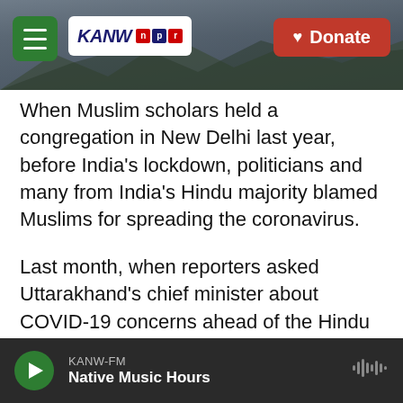[Figure (screenshot): KANW NPR radio station website header with mountain background, green menu button, KANW NPR logo, and red Donate button]
When Muslim scholars held a congregation in New Delhi last year, before India's lockdown, politicians and many from India's Hindu majority blamed Muslims for spreading the coronavirus.
Last month, when reporters asked Uttarakhand's chief minister about COVID-19 concerns ahead of the Hindu Kumbh Mela festival, he said no one would be stopped from coming because of the pandemic.
"Pilgrims' faith will overcome the fear of the virus,"
KANW-FM  Native Music Hours